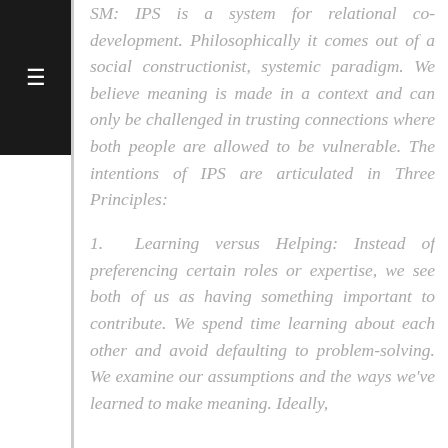SM: IPS is a system for relational co-development. Philosophically it comes out of a social constructionist, systemic paradigm. We believe meaning is made in a context and can only be challenged in trusting connections where both people are allowed to be vulnerable. The intentions of IPS are articulated in Three Principles:
1. Learning versus Helping: Instead of preferencing certain roles or expertise, we see both of us as having something important to contribute. We spend time learning about each other and avoid defaulting to problem-solving. We examine our assumptions and the ways we've learned to make meaning. Ideally,